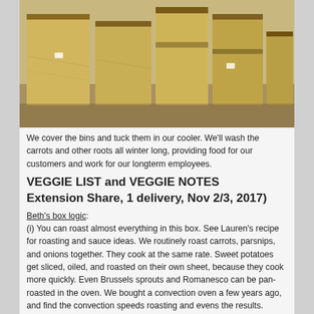[Figure (photo): Photograph of large wooden bins covered in plastic wrap/film, stacked in a cooler storage room.]
We cover the bins and tuck them in our cooler.  We'll wash the carrots and other roots all winter long, providing food for our customers and work for our longterm employees.
VEGGIE LIST and VEGGIE NOTES
Extension Share, 1 delivery, Nov 2/3, 2017)
Beth's box logic:
(i) You can roast almost everything in this box.  See Lauren's recipe for roasting and sauce ideas.  We routinely roast carrots, parsnips, and onions together.  They cook at the same rate.  Sweet potatoes get sliced, oiled, and roasted on their own sheet, because they cook more quickly.  Even Brussels sprouts and Romanesco can be pan-roasted in the oven.  We bought a convection oven a few years ago, and find the convection speeds roasting and evens the results.
(ii) We send the Beauty Heart radishes in combination with carrots because they make lovely, mixed salads, like Lauren's Beauty Heart…